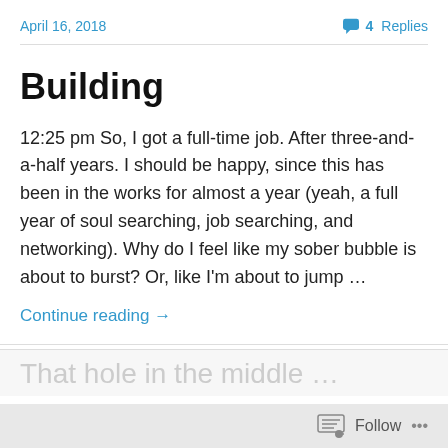April 16, 2018    4 Replies
Building
12:25 pm So, I got a full-time job.  After three-and-a-half years.  I should be happy, since this has been in the works for almost a year (yeah, a full year of soul searching, job searching, and networking).  Why do I feel like my sober bubble is about to burst?  Or, like I'm about to jump …
Continue reading →
August 8, 2015    20 Replies
That hole in the middle …
Follow